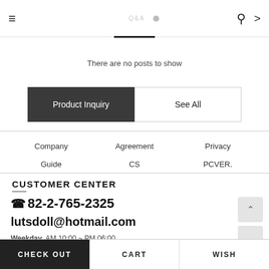≡  [nav items]  Q >
There are no posts to show
Product Inquiry | See All
Company   Agreement   Privacy
Guide   CS   PCVER.
CUSTOMER CENTER
☎ 82-2-765-2325
lutsdoll@hotmail.com
Weekday   AM 10:00 ~ PM 06:00
CHECK OUT   CART   WISH